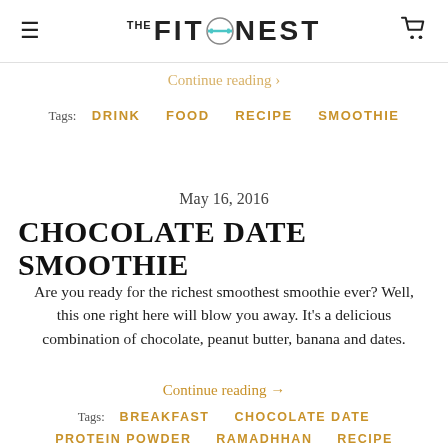THE FITONEST
Continue reading →
Tags: DRINK  FOOD  RECIPE  SMOOTHIE
May 16, 2016
CHOCOLATE DATE SMOOTHIE
Are you ready for the richest smoothest smoothie ever? Well, this one right here will blow you away. It's a delicious combination of chocolate, peanut butter, banana and dates.
Continue reading →
Tags: BREAKFAST  CHOCOLATE DATE  PROTEIN POWDER  RAMADHHAN  RECIPE